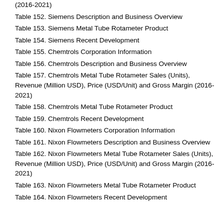(2016-2021)
Table 152. Siemens Description and Business Overview
Table 153. Siemens Metal Tube Rotameter Product
Table 154. Siemens Recent Development
Table 155. Chemtrols Corporation Information
Table 156. Chemtrols Description and Business Overview
Table 157. Chemtrols Metal Tube Rotameter Sales (Units), Revenue (Million USD), Price (USD/Unit) and Gross Margin (2016-2021)
Table 158. Chemtrols Metal Tube Rotameter Product
Table 159. Chemtrols Recent Development
Table 160. Nixon Flowmeters Corporation Information
Table 161. Nixon Flowmeters Description and Business Overview
Table 162. Nixon Flowmeters Metal Tube Rotameter Sales (Units), Revenue (Million USD), Price (USD/Unit) and Gross Margin (2016-2021)
Table 163. Nixon Flowmeters Metal Tube Rotameter Product
Table 164. Nixon Flowmeters Recent Development